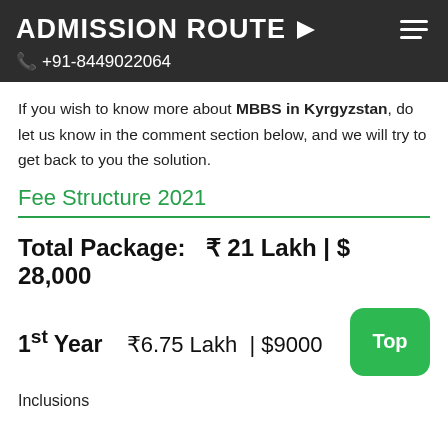ADMISSION ROUTE ▶  +91-8449022064
If you wish to know more about MBBS in Kyrgyzstan, do let us know in the comment section below, and we will try to get back to you the solution.
Fee Structure 2021
Total Package:  ₹ 21 Lakh | $ 28,000
1st Year  ₹6.75 Lakh  | $9000
Inclusions